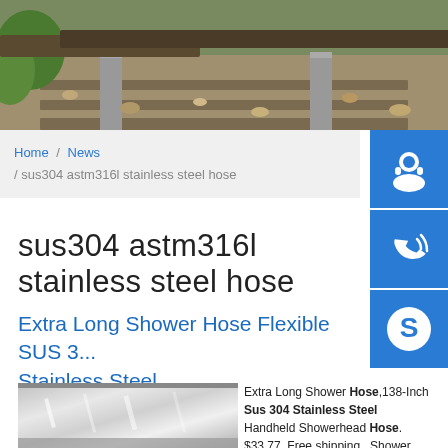[Figure (photo): Hero image showing metal rails on gravel with green foliage]
Home / News / sus304 astm316l stainless steel hose
sus304 astm316l stainless steel hose
Extra Long Shower Hose Flexible SUS 3... Stainless Steel ...
[Figure (photo): Photo of a stainless steel sheet/plate with reflective surface]
Extra Long Shower Hose,138-Inch Sus 304 Stainless Steel Handheld Showerhead Hose. $33.77. Free shipping . Shower Hose Brushed Nickel Extra Long...